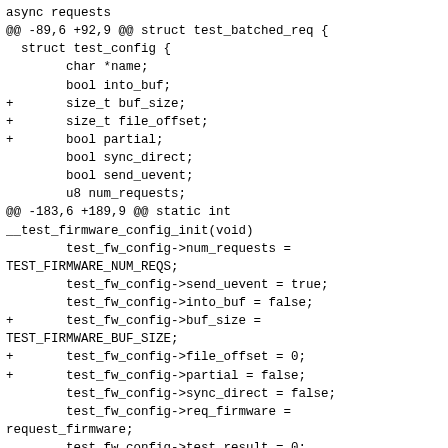async requests
@@ -89,6 +92,9 @@ struct test_batched_req {
  struct test_config {
        char *name;
        bool into_buf;
+       size_t buf_size;
+       size_t file_offset;
+       bool partial;
        bool sync_direct;
        bool send_uevent;
        u8 num_requests;
@@ -183,6 +189,9 @@ static int
__test_firmware_config_init(void)
        test_fw_config->num_requests =
TEST_FIRMWARE_NUM_REQS;
        test_fw_config->send_uevent = true;
        test_fw_config->into_buf = false;
+       test_fw_config->buf_size =
TEST_FIRMWARE_BUF_SIZE;
+       test_fw_config->file_offset = 0;
+       test_fw_config->partial = false;
        test_fw_config->sync_direct = false;
        test_fw_config->req_firmware =
request_firmware;
        test_fw_config->test_result = 0;
@@ -236,28 +245,35 @@ static ssize_t config_show(struct
device *dev,
                        dev_name(dev));

        if (test_fw_config->name)
                len += scnprintf(buf+len, PAGE_SIZE